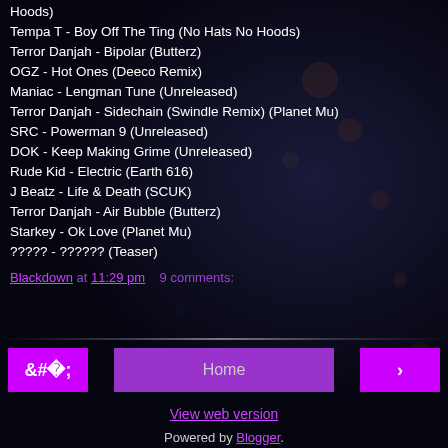Hoods)
Tempa T - Boy Off The Ting (No Hats No Hoods)
Terror Danjah - Bipolar (Butterz)
OGZ - Hot Ones (Deeco Remix)
Maniac - Lengman Tune (Unreleased)
Terror Danjah - Sidechain (Swindle Remix) (Planet Mu)
SRC - Powerman 9 (Unreleased)
DOK - Keep Making Grime (Unreleased)
Rude Kid - Electric (Earth 616)
J Beatz - Life & Death (SCUK)
Terror Danjah - Air Bubble (Butterz)
Starkey - Ok Love (Planet Mu)
????? - ?????? (Teaser)
Blackdown at 11:29 pm   9 comments:
View web version
Powered by Blogger.